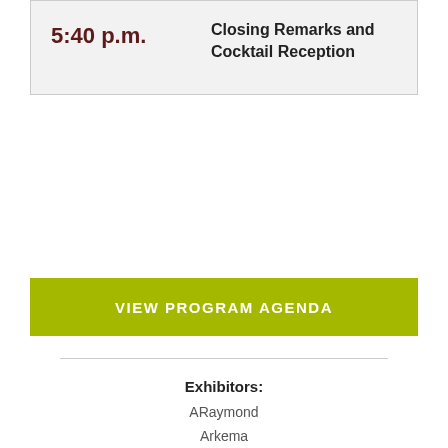| Time | Event |
| --- | --- |
| 5:40 p.m. | Closing Remarks and Cocktail Reception |
VIEW PROGRAM AGENDA
Exhibitors:
ARaymond
Arkema
Ascend Performance Materials